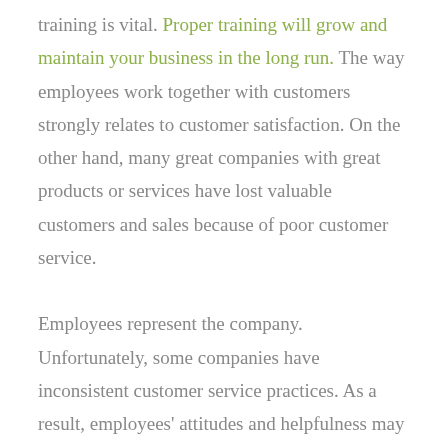training is vital. Proper training will grow and maintain your business in the long run. The way employees work together with customers strongly relates to customer satisfaction. On the other hand, many great companies with great products or services have lost valuable customers and sales because of poor customer service.

Employees represent the company. Unfortunately, some companies have inconsistent customer service practices. As a result, employees' attitudes and helpfulness may differ.